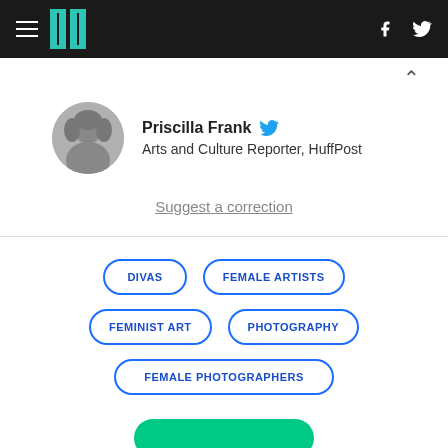HuffPost navigation bar with hamburger menu, logo, Facebook and Twitter icons
Priscilla Frank — Arts and Culture Reporter, HuffPost
Suggest a correction
DIVAS
FEMALE ARTISTS
FEMINIST ART
PHOTOGRAPHY
FEMALE PHOTOGRAPHERS